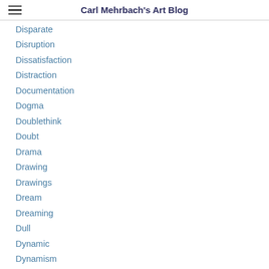Carl Mehrbach's Art Blog
Disparate
Disruption
Dissatisfaction
Distraction
Documentation
Dogma
Doublethink
Doubt
Drama
Drawing
Drawings
Dream
Dreaming
Dull
Dynamic
Dynamism
Education
Effort